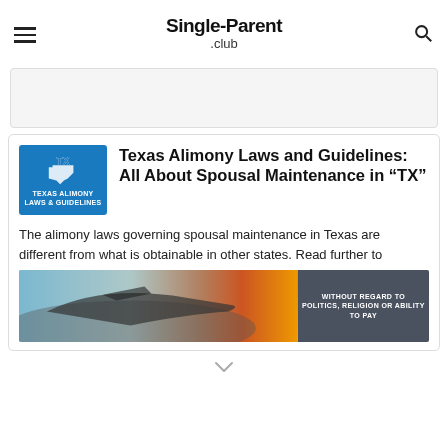Single-Parent .club
[Figure (screenshot): Article card with TX badge image for Texas Alimony Laws and Guidelines article]
Texas Alimony Laws and Guidelines: All About Spousal Maintenance in “TX”
The alimony laws governing spousal maintenance in Texas are different from what is obtainable in other states. Read further to
[Figure (photo): Advertisement banner showing airplane being loaded with cargo, with text WITHOUT REGARD TO POLITICS, RELIGION OR ABILITY TO PAY]